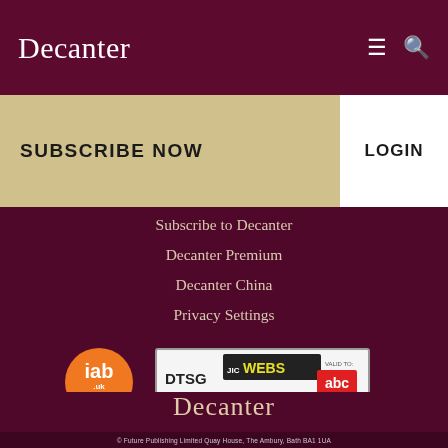Decanter
SUBSCRIBE NOW
LOGIN
Subscribe to Decanter
Decanter Premium
Decanter China
Privacy Settings
[Figure (logo): IAB UK Gold Standard certification badge - orange circular badge]
[Figure (logo): DTSG JICWebs UK Brand Safety certification badge with ABC logo - valid to September 2019]
Decanter
© Future Publishing Limited Quay House, The Ambury, Bath BA1 1UA